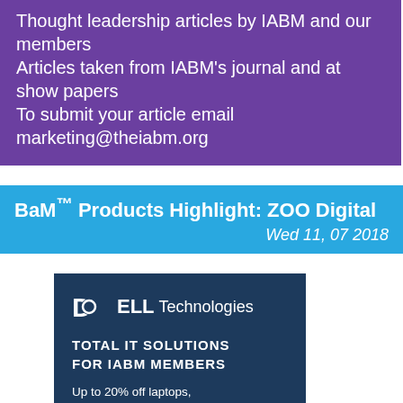Thought leadership articles by IABM and our members
Articles taken from IABM's journal and at show papers
To submit your article email marketing@theiabm.org
BaM™ Products Highlight: ZOO Digital
Wed 11, 07 2018
[Figure (advertisement): Dell Technologies advertisement with dark navy blue background. Shows Dell Technologies logo at top, text 'TOTAL IT SOLUTIONS FOR IABM MEMBERS', and 'Up to 20% off laptops, desktops & accessories'. A reCAPTCHA / privacy badge appears at bottom right.]